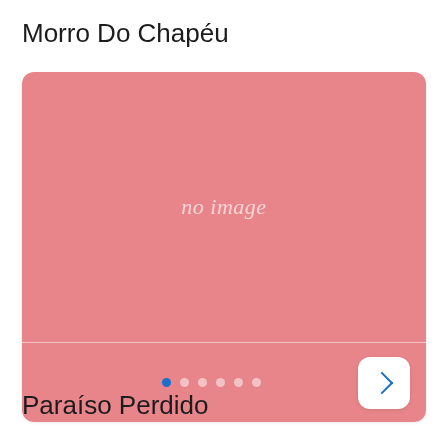Morro Do Chapéu
[Figure (screenshot): Image carousel placeholder with pink/salmon background showing 'no image' text in italic, navigation dots (first dot active in blue), and a white next arrow button on the right]
Paraíso Perdido